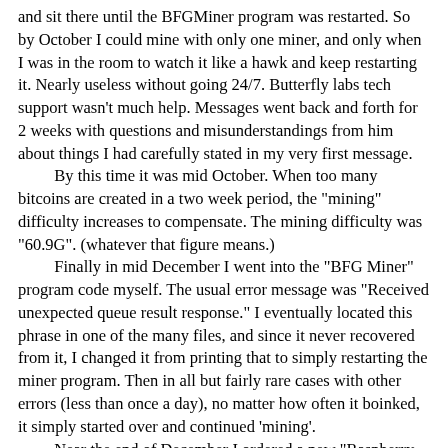and sit there until the BFGMiner program was restarted. So by October I could mine with only one miner, and only when I was in the room to watch it like a hawk and keep restarting it. Nearly useless without going 24/7. Butterfly labs tech support wasn't much help. Messages went back and forth for 2 weeks with questions and misunderstandings from him about things I had carefully stated in my very first message.
   By this time it was mid October. When too many bitcoins are created in a two week period, the "mining" difficulty increases to compensate. The mining difficulty was "60.9G". (whatever that figure means.)
   Finally in mid December I went into the "BFG Miner" program code myself. The usual error message was "Received unexpected queue result response." I eventually located this phrase in one of the many files, and since it never recovered from it, I changed it from printing that to simply restarting the miner program. Then in all but fairly rare cases with other errors (less than once a day), no matter how often it boinked, it simply started over and continued 'mining'.
   Near the end of December I ordered a new "Raspberry Pi 2 B". I thought I might need one for each miner and an ethernet router to handle them all, but the new one had a quad core ARM processor running over double the clock speed of the originals. To my amazement, I simply unplugged the micro-SD card with all the hard-won software from the old one and plugged it into the new